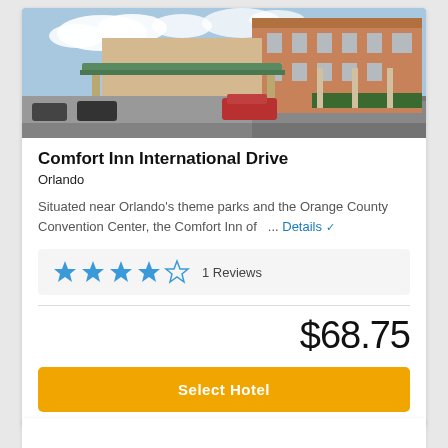[Figure (photo): Exterior photo of Comfort Inn International Drive hotel building with parking area and covered entrance]
Comfort Inn International Drive
Orlando
Situated near Orlando's theme parks and the Orange County Convention Center, the Comfort Inn of   ... Details
★★★★☆ 1 Reviews
$68.75
Select Hotel